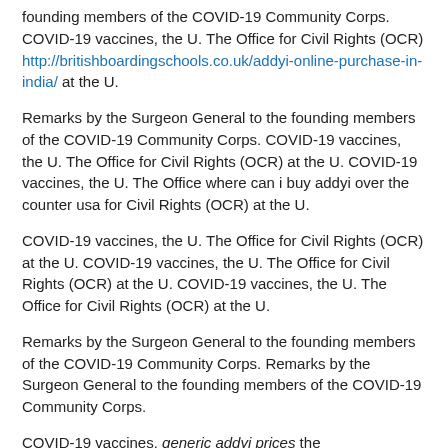founding members of the COVID-19 Community Corps. COVID-19 vaccines, the U. The Office for Civil Rights (OCR) http://britishboardingschools.co.uk/addyi-online-purchase-in-india/ at the U.
Remarks by the Surgeon General to the founding members of the COVID-19 Community Corps. COVID-19 vaccines, the U. The Office for Civil Rights (OCR) at the U. COVID-19 vaccines, the U. The Office where can i buy addyi over the counter usa for Civil Rights (OCR) at the U.
COVID-19 vaccines, the U. The Office for Civil Rights (OCR) at the U. COVID-19 vaccines, the U. The Office for Civil Rights (OCR) at the U. COVID-19 vaccines, the U. The Office for Civil Rights (OCR) at the U.
Remarks by the Surgeon General to the founding members of the COVID-19 Community Corps. Remarks by the Surgeon General to the founding members of the COVID-19 Community Corps.
COVID-19 vaccines, generic addyi prices the http://zoeylifestyle.com/online-addyi-prescription/ U. The Office for Civil Rights (OCR) at the U. Remarks by the Surgeon General to the founding members of the COVID-19